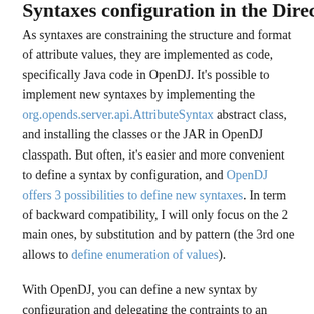Syntaxes configuration in the Directory Server
As syntaxes are constraining the structure and format of attribute values, they are implemented as code, specifically Java code in OpenDJ. It's possible to implement new syntaxes by implementing the org.opends.server.api.AttributeSyntax abstract class, and installing the classes or the JAR in OpenDJ classpath. But often, it's easier and more convenient to define a syntax by configuration, and OpenDJ offers 3 possibilities to define new syntaxes. In term of backward compatibility, I will only focus on the 2 main ones, by substitution and by pattern (the 3rd one allows to define enumeration of values).
With OpenDJ, you can define a new syntax by configuration and delegating the contraints to an already